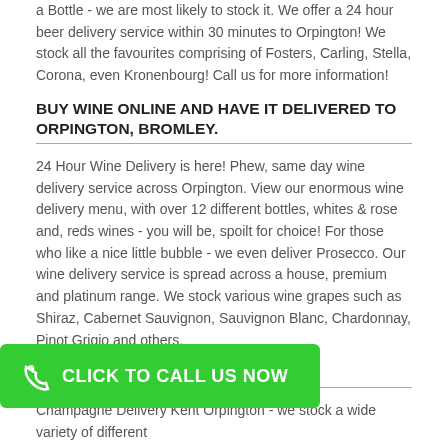a Bottle - we are most likely to stock it. We offer a 24 hour beer delivery service within 30 minutes to Orpington! We stock all the favourites comprising of Fosters, Carling, Stella, Corona, even Kronenbourg! Call us for more information!
BUY WINE ONLINE AND HAVE IT DELIVERED TO ORPINGTON, BROMLEY.
24 Hour Wine Delivery is here! Phew, same day wine delivery service across Orpington. View our enormous wine delivery menu, with over 12 different bottles, whites & rose and, reds wines - you will be, spoilt for choice! For those who like a nice little bubble - we even deliver Prosecco. Our wine delivery service is spread across a house, premium and platinum range. We stock various wine grapes such as Shiraz, Cabernet Sauvignon, Sauvignon Blanc, Chardonnay, Pinot Grigio and others.
CHAMPAGNE DELIVERY ORPINGTON.
Champagne Delivery Kent Orpington - we stock a wide variety of different [champagnes] for immediate same day delivery. [Brands include] as Moet, Lanson & Veuve Clicquot and Laurent-Perrier to name a few. Rest assured all our champagne is delivered and chilled within 15-35 minutes!Need an Alcohol Delivery to Orpington?
[Figure (other): Green call-to-action button with phone icon and text 'CLICK TO CALL US NOW']